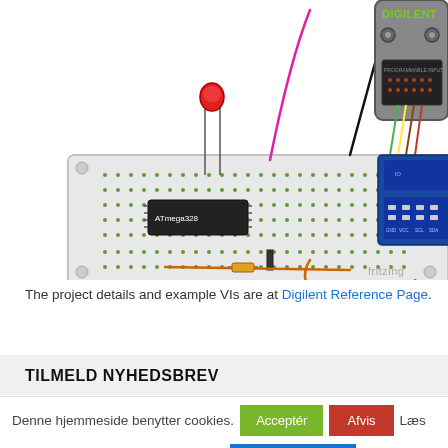[Figure (schematic): Fritzing schematic diagram showing a breadboard with an ATmega328 IC and red LED connected via wires (pink, black, orange) to a Digilent device (oscilloscope/DAQ) with green, yellow, brown, and red wires. A blue USB module is connected in the middle. A yellow label reads '-> to serial port'. The diagram is labeled 'fritzing' in gray at the bottom right.]
The project details and example VIs are at Digilent Reference Page.
TILMELD NYHEDSBREV
Denne hjemmeside benytter cookies.  Acceptér  Afvis  Læs mere om vores brug af cookies her:  Brug af cookies